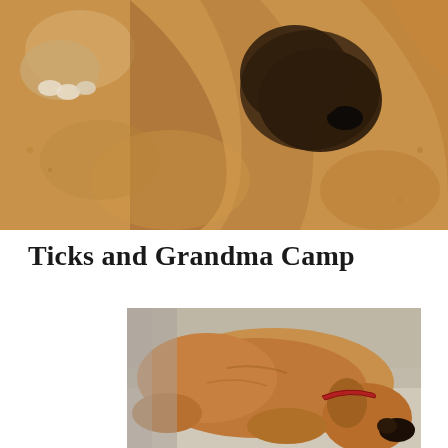[Figure (photo): A dog wrapped snugly in a tan/brown fleece blanket, with paws and nose visible, sleeping or resting comfortably.]
Ticks and Grandma Camp
[Figure (photo): A tan/brown dog with a red collar sleeping on a light-colored surface, curled up resting.]